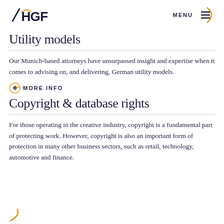HGF | MENU
Utility models
Our Munich-based attorneys have unsurpassed insight and expertise when it comes to advising on, and delivering, German utility models.
+ MORE INFO
Copyright & database rights
For those operating in the creative industry, copyright is a fundamental part of protecting work. However, copyright is also an important form of protection in many other business sectors, such as retail, technology, automotive and finance.